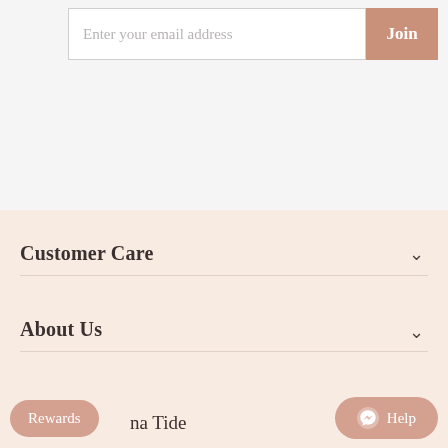Enter your email address
Join
Customer Care
About Us
Rewards
na Tide
Help